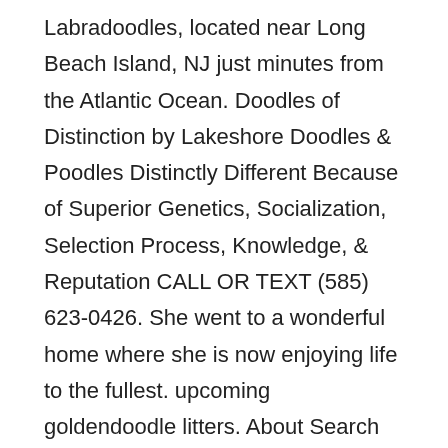Labradoodles, located near Long Beach Island, NJ just minutes from the Atlantic Ocean. Doodles of Distinction by Lakeshore Doodles & Poodles Distinctly Different Because of Superior Genetics, Socialization, Selection Process, Knowledge, & Reputation CALL OR TEXT (585) 623-0426. She went to a wonderful home where she is now enjoying life to the fullest. upcoming goldendoodle litters. About Search Results. Woof! Our puppies are all hybrid, hypo-allergenic and non-shedding. Foster, forever. Top Quality, Family Raised Goldendoodle Puppies from Health Tested Parents. Open today. Peter is our fantastic standard goldendoodle dad. You will be able to see all their current contact information, as well as a link to their website, so you can check and see what dogs they currently have available for adoption. Size. We treat all of our dogs and our Doodle puppies like the members of the